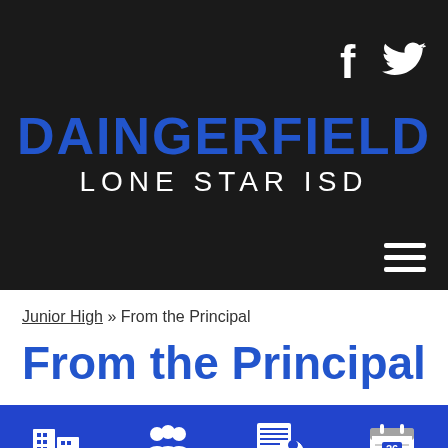[Figure (screenshot): Daingerfield Lone Star ISD website header with dark background, Facebook and Twitter social icons, district name logo in blue and white, and hamburger menu icon]
Junior High » From the Principal
From the Principal
Schools | Parent Portal | Staff Directory | Calendar